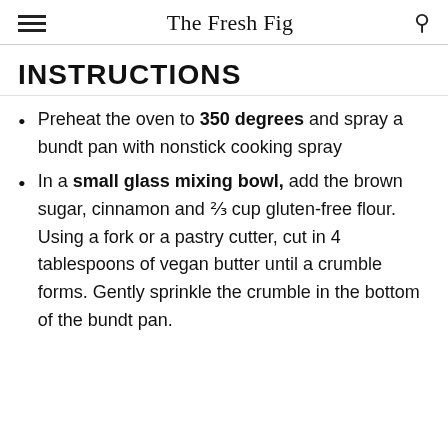The Fresh Fig
INSTRUCTIONS
Preheat the oven to 350 degrees and spray a bundt pan with nonstick cooking spray
In a small glass mixing bowl, add the brown sugar, cinnamon and ⅔ cup gluten-free flour. Using a fork or a pastry cutter, cut in 4 tablespoons of vegan butter until a crumble forms. Gently sprinkle the crumble in the bottom of the bundt pan.